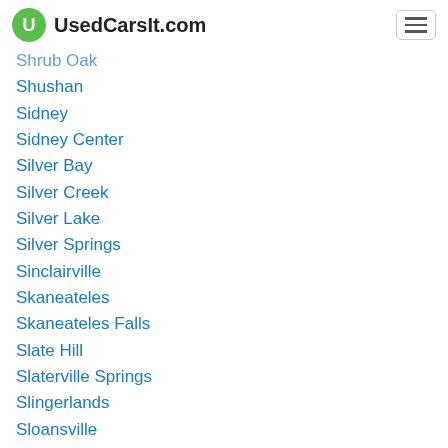UsedCarsIt.com
Shrub Oak
Shushan
Sidney
Sidney Center
Silver Bay
Silver Creek
Silver Lake
Silver Springs
Sinclairville
Skaneateles
Skaneateles Falls
Slate Hill
Slaterville Springs
Slingerlands
Sloansville
Sloatsburg
Smallwood